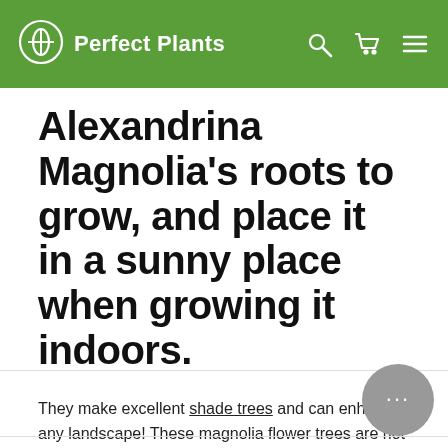Perfect Plants
Alexandrina Magnolia's roots to grow, and place it in a sunny place when growing it indoors.
They make excellent shade trees and can enhance any landscape! These magnolia flower trees are not bare root trees and ship rooted in a container with soil.
Shop the Alexandrina Magnolia for sale!